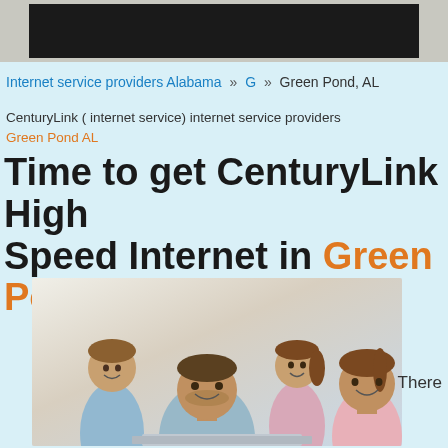[Figure (screenshot): Dark navigation bar / header banner at top of webpage]
Internet service providers Alabama » G » Green Pond, AL
CenturyLink ( internet service) internet service providers Green Pond AL
Time to get CenturyLink High Speed Internet in Green Pond, AL
[Figure (photo): Happy family of four (father, mother, boy, girl) smiling together in front of a laptop]
There